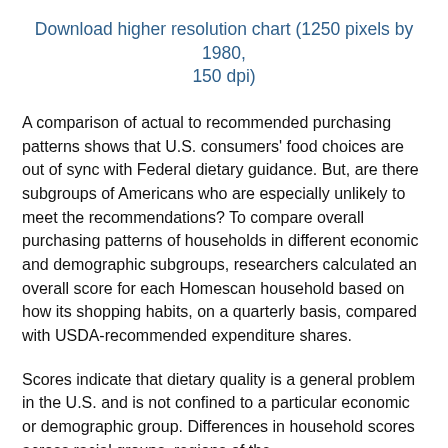Download higher resolution chart (1250 pixels by 1980, 150 dpi)
A comparison of actual to recommended purchasing patterns shows that U.S. consumers' food choices are out of sync with Federal dietary guidance. But, are there subgroups of Americans who are especially unlikely to meet the recommendations? To compare overall purchasing patterns of households in different economic and demographic subgroups, researchers calculated an overall score for each Homescan household based on how its shopping habits, on a quarterly basis, compared with USDA-recommended expenditure shares.
Scores indicate that dietary quality is a general problem in the U.S. and is not confined to a particular economic or demographic group. Differences in household scores across racial groups, regions of the